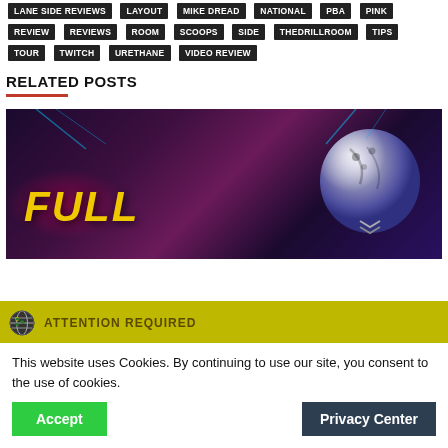LANE SIDE REVIEWS | LAYOUT | MIKE DREAD | NATIONAL | PBA | PINK | REVIEW | REVIEWS | ROOM | SCOOPS | SIDE | THEDRILLROOM | TIPS | TOUR | TWITCH | URETHANE | VIDEO REVIEW
RELATED POSTS
[Figure (screenshot): Thumbnail image with text 'FULL' in large yellow italic letters on a purple/dark background with a bowling ball on the right]
ATTENTION REQUIRED
This website uses Cookies. By continuing to use our site, you consent to the use of cookies.
Accept
Privacy Center